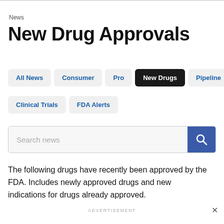News
New Drug Approvals
All News
Consumer
Pro
New Drugs
Pipeline
Clinical Trials
FDA Alerts
Search news
The following drugs have recently been approved by the FDA. Includes newly approved drugs and new indications for drugs already approved.
ADVERTISEMENT